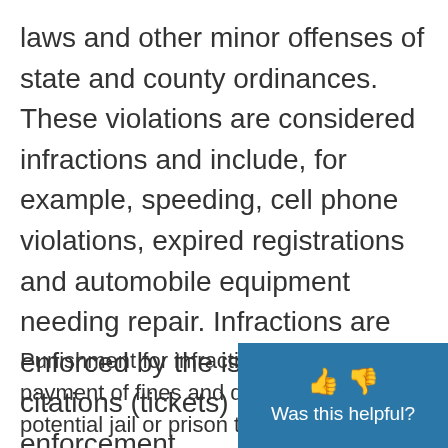laws and other minor offenses of state and county ordinances. These violations are considered infractions and include, for example, speeding, cell phone violations, expired registrations and automobile equipment needing repair. Infractions are enforced by the issuance of citations (tickets) by law enforcement.
Punishment for infractions requires payment of fines and does not carry any potential jail or prison time. Failure to pay traffic fines when due or respond to lead to additional penalties including imposition of a civil assessment and a DMV hold placed on your driver's